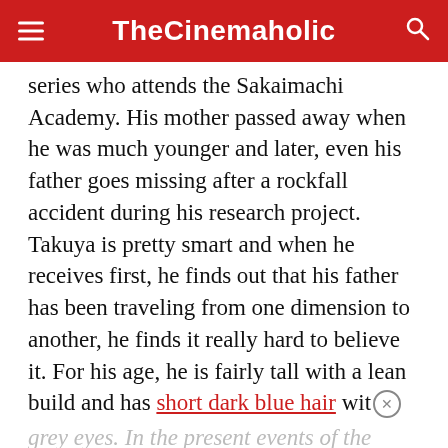TheCinemaholic
series who attends the Sakaimachi Academy. His mother passed away when he was much younger and later, even his father goes missing after a rockfall accident during his research project. Takuya is pretty smart and when he receives first, he finds out that his father has been traveling from one dimension to another, he finds it really hard to believe it. For his age, he is fairly tall with a lean build and has short dark blue hair wit
grey eyes. In the present events of the anime,
[Figure (other): Macy's advertisement: KISS BORING LIPS GOODBYE with woman's lips and SHOP NOW button]
he st... drea... finding out about his father's 'death'...